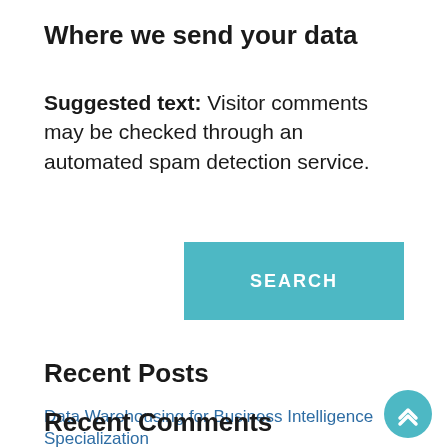Where we send your data
Suggested text: Visitor comments may be checked through an automated spam detection service.
[Figure (other): Teal SEARCH button]
Recent Posts
Data Warehousing for Business Intelligence Specialization
Recent Comments